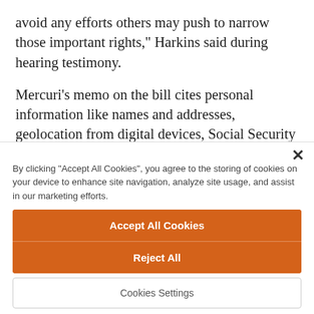avoid any efforts others may push to narrow those important rights," Harkins said during hearing testimony.
Mercuri's memo on the bill cites personal information like names and addresses, geolocation from digital devices, Social Security and driver's license numbers, and biometric information like
By clicking "Accept All Cookies", you agree to the storing of cookies on your device to enhance site navigation, analyze site usage, and assist in our marketing efforts.
Accept All Cookies
Reject All
Cookies Settings